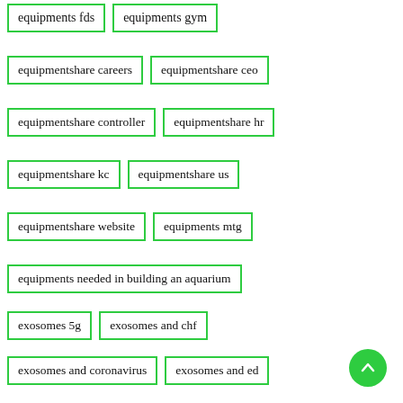equipments fds
equipments gym
equipmentshare careers
equipmentshare ceo
equipmentshare controller
equipmentshare hr
equipmentshare kc
equipmentshare us
equipmentshare website
equipments mtg
equipments needed in building an aquarium
exosomes 5g
exosomes and chf
exosomes and coronavirus
exosomes and ed
exosomes and ms
exosomes and ra